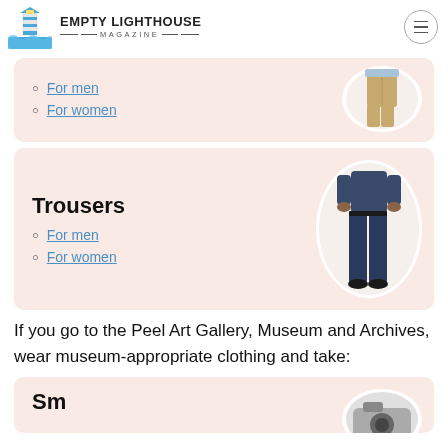EMPTY LIGHTHOUSE MAGAZINE
For men
For women
Trousers
For men
For women
If you go to the Peel Art Gallery, Museum and Archives, wear museum-appropriate clothing and take: